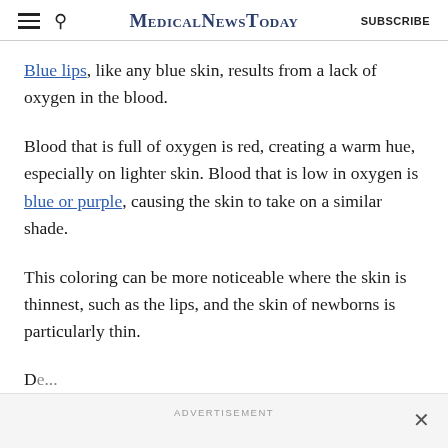MedicalNewsToday SUBSCRIBE
Blue lips, like any blue skin, results from a lack of oxygen in the blood.
Blood that is full of oxygen is red, creating a warm hue, especially on lighter skin. Blood that is low in oxygen is blue or purple, causing the skin to take on a similar shade.
This coloring can be more noticeable where the skin is thinnest, such as the lips, and the skin of newborns is particularly thin.
ADVERTISEMENT ×